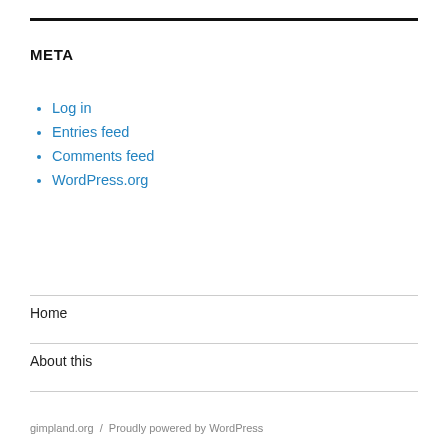META
Log in
Entries feed
Comments feed
WordPress.org
Home
About this
gimpland.org / Proudly powered by WordPress